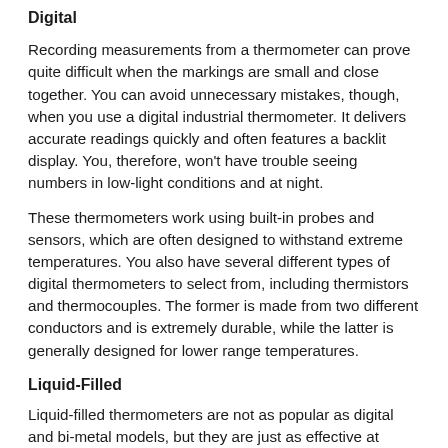Digital
Recording measurements from a thermometer can prove quite difficult when the markings are small and close together. You can avoid unnecessary mistakes, though, when you use a digital industrial thermometer. It delivers accurate readings quickly and often features a backlit display. You, therefore, won't have trouble seeing numbers in low-light conditions and at night.
These thermometers work using built-in probes and sensors, which are often designed to withstand extreme temperatures. You also have several different types of digital thermometers to select from, including thermistors and thermocouples. The former is made from two different conductors and is extremely durable, while the latter is generally designed for lower range temperatures.
Liquid-Filled
Liquid-filled thermometers are not as popular as digital and bi-metal models, but they are just as effective at providing accurate readings. They are also available online and don't cost as much as the other types. To measure temperature, they rely on liquid in the form of alcohol or mercury.
It's important to consider what material the liquid-filled thermometer is made out of, especially if you plan on traveling with it regularly. For example, it may be better to select a liquid-filled instrument encased in stainless steel or...